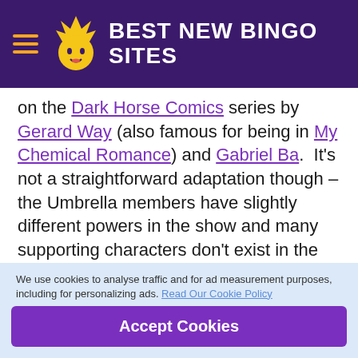BEST NEW BINGO SITES
on the Dark Horse Comics series by Gerard Way (also famous for being in My Chemical Romance) and Gabriel Ba.  It's not a straightforward adaptation though – the Umbrella members have slightly different powers in the show and many supporting characters don't exist in the comics.  The divergence between comics and show was greater in Season 2 than in Season 1 and we expect it to be greater still in Season 3.
Don't expect Season 3 to end with any less of a cliffhanger than either of the first two seasons, though – Netflix have reportedly already given the green light to Season 4.
We use cookies to analyse traffic and for ad measurement purposes, including for personalizing ads. Read Our Cookie Policy
Accept Cookies